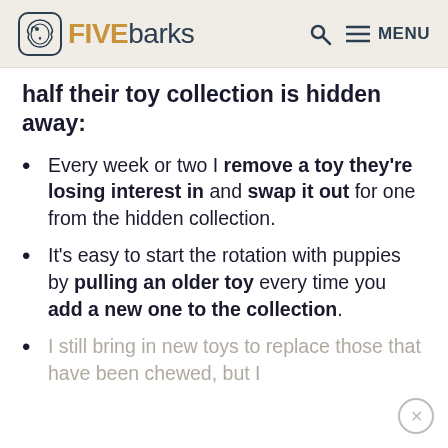FIVEbarks | Q MENU
half their toy collection is hidden away:
Every week or two I remove a toy they're losing interest in and swap it out for one from the hidden collection.
It's easy to start the rotation with puppies by pulling an older toy every time you add a new one to the collection.
I still bring in new toys to replace those that have been chewed, but I